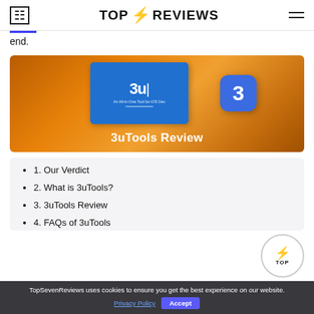TOP ⚡ REVIEWS
end.
[Figure (screenshot): 3uTools Review banner image with orange gradient background, showing a blue app screenshot and a blue square icon with the number 3, text '3uTools Review' at bottom]
1. Our Verdict
2. What is 3uTools?
3. 3uTools Review
4. FAQs of 3uTools
TopSevenReviews uses cookies to ensure you get the best experience on our website.